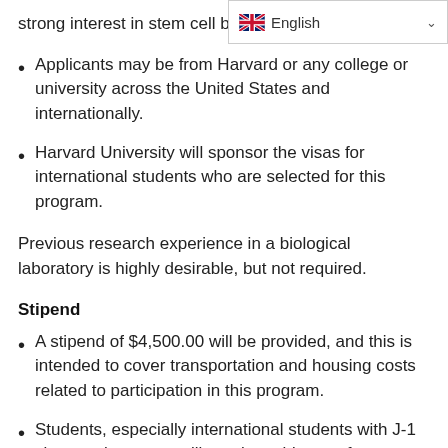strong interest in stem cell bi…
[Figure (other): Language selector widget showing UK flag and 'English' with dropdown chevron]
Applicants may be from Harvard or any college or university across the United States and internationally.
Harvard University will sponsor the visas for international students who are selected for this program.
Previous research experience in a biological laboratory is highly desirable, but not required.
Stipend
A stipend of $4,500.00 will be provided, and this is intended to cover transportation and housing costs related to participation in this program.
Students, especially international students with J-1 visa requirements, will require evidence of greater personal